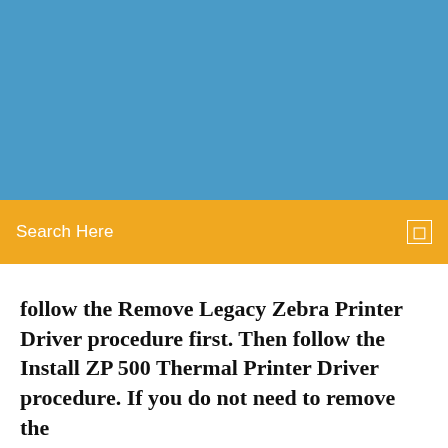[Figure (other): Blue header banner background]
Search Here
follow the Remove Legacy Zebra Printer Driver procedure first. Then follow the Install ZP 500 Thermal Printer Driver procedure. If you do not need to remove the
If you notice your labels look small or blurry on your Zebra Printer, follow the steps How to Restore Factory Settings on a Zebra Thermal Printer · Zebra ZP 450 driver download from Seagull